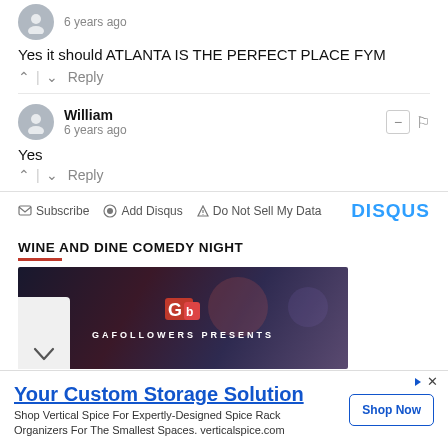6 years ago
Yes it should ATLANTA IS THE PERFECT PLACE FYM
^ | v Reply
William
6 years ago
Yes
^ | v Reply
Subscribe  Add Disqus  Do Not Sell My Data  DISQUS
WINE AND DINE COMEDY NIGHT
[Figure (photo): Dark event image with GAFOLLOWERS PRESENTS logo and red G icon]
Your Custom Storage Solution
Shop Vertical Spice For Expertly-Designed Spice Rack Organizers For The Smallest Spaces. verticalspice.com
Shop Now